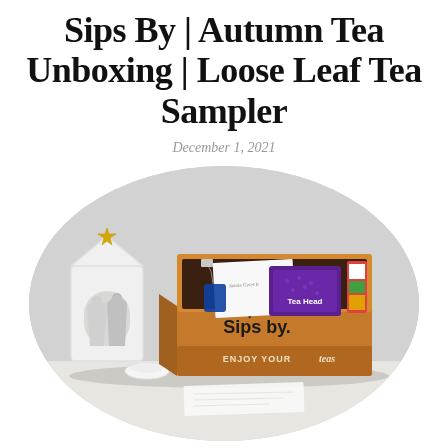Sips By | Autumn Tea Unboxing | Loose Leaf Tea Sampler
December 1, 2021
[Figure (photo): An open brown cardboard 'Sips by.' subscription box displayed on a white surface, filled with tea samples including a purple 'Tea Head' package and other items. A decorative nativity scene lantern with a gold star is visible to the left. The box reads 'ENJOY YOUR teas' on the front. The image is cropped in an oval shape.]